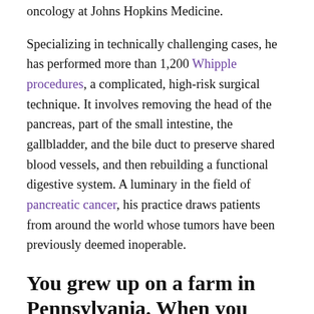oncology at Johns Hopkins Medicine.
Specializing in technically challenging cases, he has performed more than 1,200 Whipple procedures, a complicated, high-risk surgical technique. It involves removing the head of the pancreas, part of the small intestine, the gallbladder, and the bile duct to preserve shared blood vessels, and then rebuilding a functional digestive system. A luminary in the field of pancreatic cancer, his practice draws patients from around the world whose tumors have been previously deemed inoperable.
You grew up on a farm in Pennsylvania. When you went off